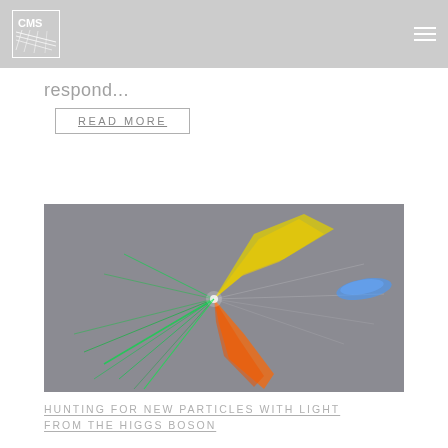CMS
respond...
READ MORE
[Figure (photo): Particle collision event display showing colored energy jets (yellow, orange, green, blue) radiating from a central interaction point, consistent with a CMS detector visualization of a Higgs boson event.]
HUNTING FOR NEW PARTICLES WITH LIGHT FROM THE HIGGS BOSON